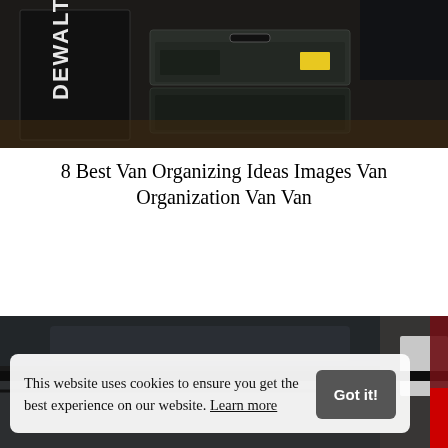[Figure (photo): Photo of DEWALT tool cases and equipment stored in a van or storage area, dark background]
8 Best Van Organizing Ideas Images Van Organization Van Van
[Figure (other): Red PREVIEW download button]
[Figure (photo): Photo of the rear/side of a dark van exterior]
This website uses cookies to ensure you get the best experience on our website. Learn more